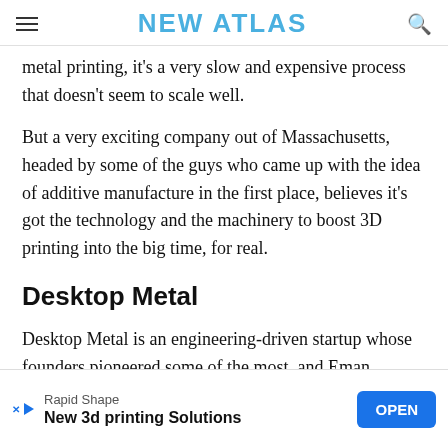NEW ATLAS
metal printing, it's a very slow and expensive process that doesn't seem to scale well.
But a very exciting company out of Massachusetts, headed by some of the guys who came up with the idea of additive manufacture in the first place, believes it's got the technology and the machinery to boost 3D printing into the big time, for real.
Desktop Metal
Desktop Metal is an engineering-driven startup whose founders pioneered some of the most, and Eman...
[Figure (other): Advertisement banner: Rapid Shape - New 3d printing Solutions - OPEN button]